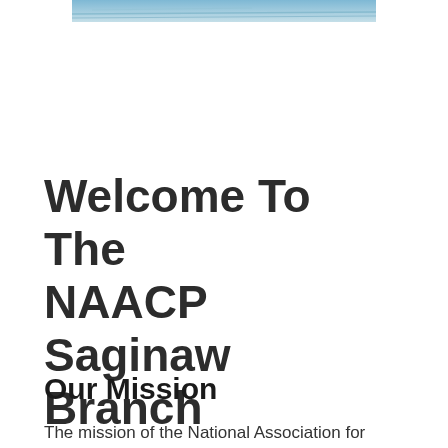[Figure (photo): Partial photo of water/ocean scene visible at the top of the page, cropped at top edge]
Welcome To The NAACP Saginaw Branch
Our Mission
The mission of the National Association for